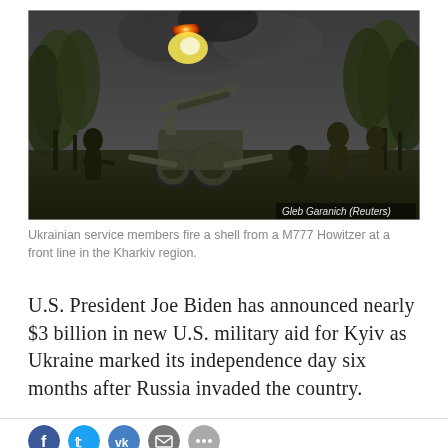[Figure (photo): Ukrainian service members firing a shell from a M777 Howitzer at a front line in the Kharkiv region. Orange fireball and dark smoke visible above the artillery. Credit: Gleb Garanich (Reuters).]
Ukrainian service members fire a shell from a M777 Howitzer at a front line in the Kharkiv region.
U.S. President Joe Biden has announced nearly $3 billion in new U.S. military aid for Kyiv as Ukraine marked its independence day six months after Russia invaded the country.